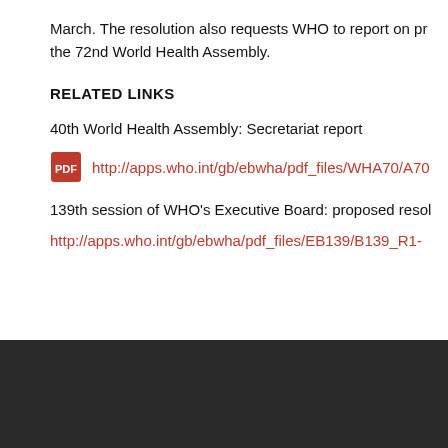March. The resolution also requests WHO to report on progress at the 72nd World Health Assembly.
RELATED LINKS
40th World Health Assembly: Secretariat report
http://apps.who.int/gb/ebwha/pdf_files/WHA70/A70...
139th session of WHO's Executive Board: proposed resol...
http://apps.who.int/gb/ebwha/pdf_files/EB139/B139_R1-...